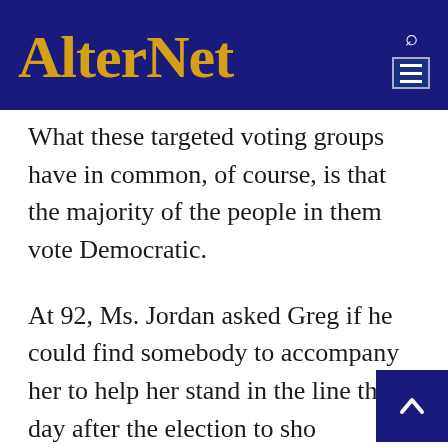AlterNet
What these targeted voting groups have in common, of course, is that the majority of the people in them vote Democratic.
At 92, Ms. Jordan asked Greg if he could find somebody to accompany her to help her stand in the line the day after the election to show her ID and prove she was a legal voter. But in Kemp’s Georgia, even that didn’t guarantee that her vote would be counted.
This process—which has spread across red